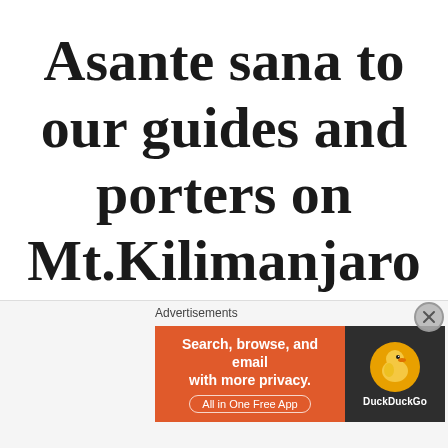Asante sana to our guides and porters on Mt.Kilimanjaro
ON APRIL 15, 2017 / BY PAULMCGUIRE2013 / 2 COMMENTS
[Figure (screenshot): DuckDuckGo advertisement banner: 'Search, browse, and email with more privacy. All in One Free App' with DuckDuckGo logo on dark background. Labeled 'Advertisements' above.]